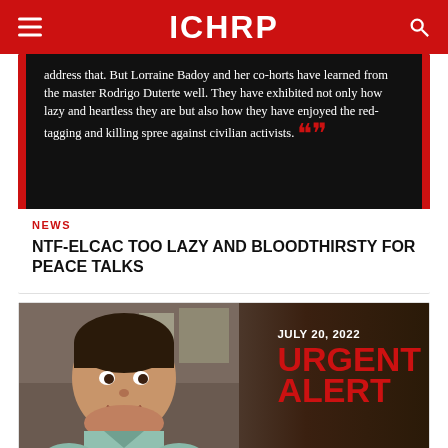ICHRP
[Figure (photo): Dark background quote image with red side bars showing text about Lorraine Badoy and red-tagging]
NEWS
NTF-ELCAC TOO LAZY AND BLOODTHIRSTY FOR PEACE TALKS
[Figure (photo): Photo of a young man smiling with an urgent alert overlay dated July 20, 2022]